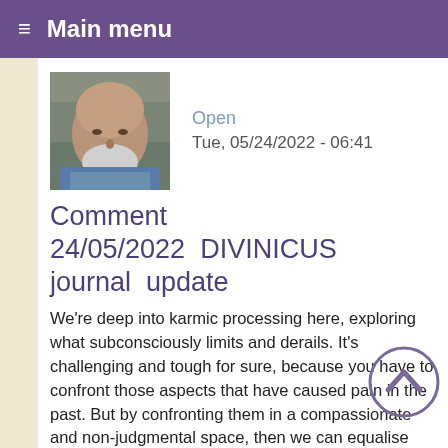≡ Main menu
[Figure (photo): Profile photo of an older bald man with a white beard wearing a blue jacket, outdoors with rocks in the background]
Open
Tue, 05/24/2022 - 06:41
Comment 24/05/2022  DIVINICUS journal  update
We're deep into karmic processing here, exploring what subconsciously limits and derails. It's challenging and tough for sure, because you have to confront those aspects that have caused pain in the past. But by confronting them in a compassionate and non-judgmental space, then we can equalise with them. Everyone carries distortions, there is no exception. And we're